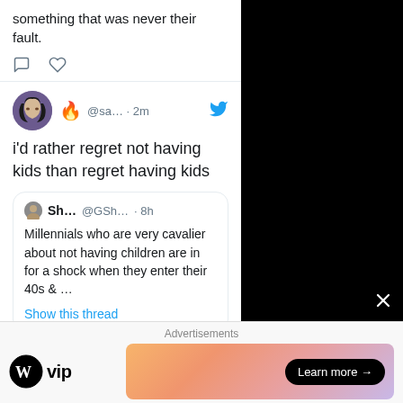something that was never their fault.
i'd rather regret not having kids than regret having kids
Sh... @GSh... · 8h
Millennials who are very cavalier about not having children are in for a shock when they enter their 40s & ...
Show this thread
Advertisements
[Figure (logo): WordPress VIP logo with WP circle icon]
[Figure (infographic): Gradient ad banner with 'Learn more →' button]